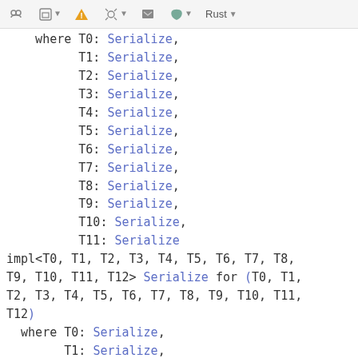toolbar with icons and Rust language selector
where T0: Serialize,
          T1: Serialize,
          T2: Serialize,
          T3: Serialize,
          T4: Serialize,
          T5: Serialize,
          T6: Serialize,
          T7: Serialize,
          T8: Serialize,
          T9: Serialize,
          T10: Serialize,
          T11: Serialize
impl<T0, T1, T2, T3, T4, T5, T6, T7, T8,
T9, T10, T11, T12> Serialize for (T0, T1,
T2, T3, T4, T5, T6, T7, T8, T9, T10, T11,
T12)
  where T0: Serialize,
        T1: Serialize,